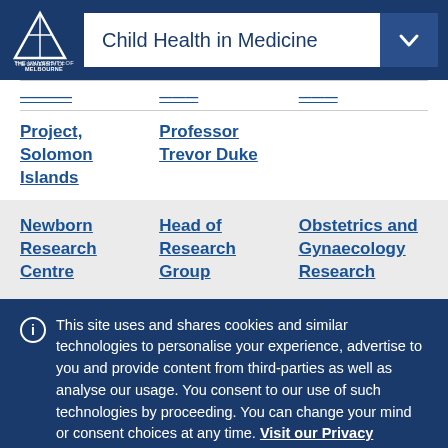Child Health in Medicine
Project, Solomon Islands | Professor Trevor Duke
Newborn Research Centre | Head of Research Group | Obstetrics and Gynaecology Research
This site uses and shares cookies and similar technologies to personalise your experience, advertise to you and provide content from third-parties as well as analyse our usage. You consent to our use of such technologies by proceeding. You can change your mind or consent choices at any time. Visit our Privacy Statement for further information.
Accept cookies | Cookie Preferences